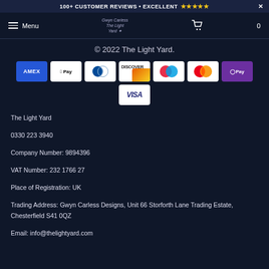100+ CUSTOMER REVIEWS • EXCELLENT ★★★★★
[Figure (screenshot): Navigation bar with hamburger menu, Menu text, logo, and cart icon with 0]
© 2022 The Light Yard.
[Figure (infographic): Payment method icons: AMEX, Apple Pay, Diners Club, Discover, Maestro, Mastercard, OPay, Visa]
The Light Yard
0330 223 3940
Company Number: 9894396
VAT Number: 232 1766 27
Place of Registration: UK
Trading Address: Gwyn Carless Designs, Unit 66 Storforth Lane Trading Estate, Chesterfield S41 0QZ
Email: info@thelightyard.com